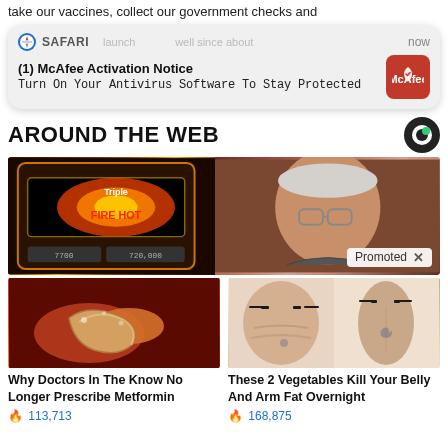take our vaccines, collect our government checks and
[Figure (screenshot): Safari browser notification card showing McAfee Activation Notice: Turn On Your Antivirus Software To Stay Protected, with McAfee red icon on right and 'now' timestamp]
AROUND THE WEB
[Figure (photo): Promoted ad image showing slot machine on left and elderly man with glasses on right, with 'Promoted X' label in bottom right corner]
[Figure (photo): Ad thumbnail showing close-up of food/organ, advertising 'Why Doctors In The Know No Longer Prescribe Metformin' with 113,713 views]
Why Doctors In The Know No Longer Prescribe Metformin
🔥 113,713
[Figure (photo): Ad thumbnail showing woman's back before and after weight loss, advertising 'These 2 Vegetables Kill Your Belly And Arm Fat Overnight' with 168,875 views]
These 2 Vegetables Kill Your Belly And Arm Fat Overnight
🔥 168,875